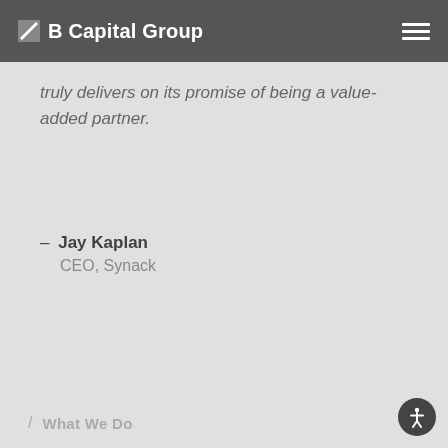B Capital Group
truly delivers on its promise of being a value-added partner.
– Jay Kaplan
CEO, Synack
/ What We Do